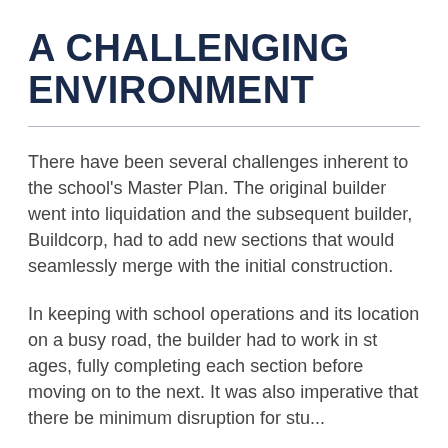A CHALLENGING ENVIRONMENT
There have been several challenges inherent to the school's Master Plan. The original builder went into liquidation and the subsequent builder, Buildcorp, had to add new sections that would seamlessly merge with the initial construction.
In keeping with school operations and its location on a busy road, the builder had to work in stages, fully completing each section before moving on to the next. It was also imperative that there be minimum disruption for stu...